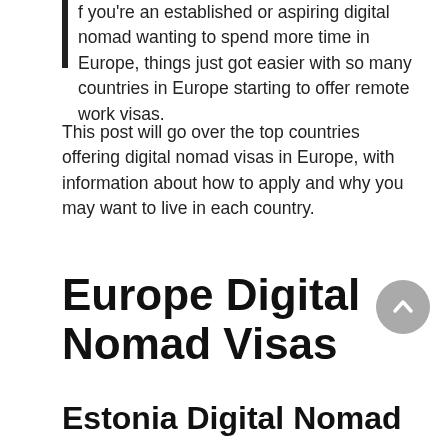If you're an established or aspiring digital nomad wanting to spend more time in Europe, things just got easier with so many countries in Europe starting to offer remote work visas.
This post will go over the top countries offering digital nomad visas in Europe, with information about how to apply and why you may want to live in each country.
Europe Digital Nomad Visas
Estonia Digital Nomad